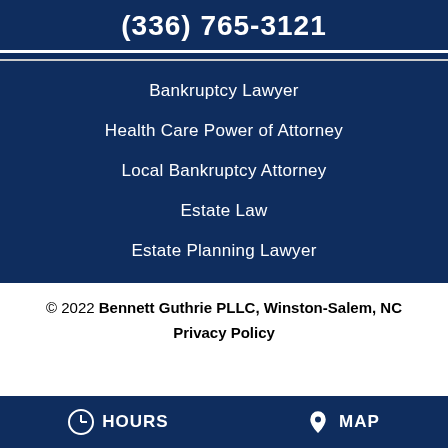(336) 765-3121
Bankruptcy Lawyer
Health Care Power of Attorney
Local Bankruptcy Attorney
Estate Law
Estate Planning Lawyer
© 2022 Bennett Guthrie PLLC, Winston-Salem, NC
Privacy Policy
HOURS   MAP